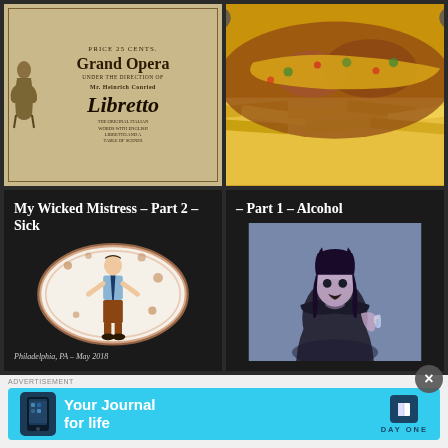[Figure (illustration): Grand Opera libretto cover: aged sepia/tan paper with ornate typography reading 'PRICE 25 CENTS. GRAND OPERA UNDER THE DIRECTION OF MR. HEINRICH CONRIED LIBRETTO' with decorative classical figure illustration on left side]
[Figure (photo): Close-up photo of food: loaded chili cheese fries or nachos with melted cheese, chili, and toppings, warm tones]
My Wicked Mistress – Part 2 – Sick
[Figure (illustration): Illustration of a person in a circle/coffee stain ring, wearing business casual, looking sick or distressed with spots around them]
Philadelphia, PA – May 2018
– Part 1 – Alcohol
[Figure (illustration): Illustration of a woman with devil horns in dark/purple tones, wearing dark clothing, holding a drink, stylized cartoon art style]
ADVERTISEMENT
Your Journal for life
DAY ONE